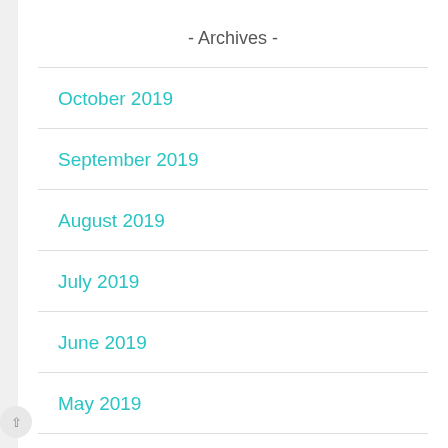- Archives -
October 2019
September 2019
August 2019
July 2019
June 2019
May 2019
^ April 2019